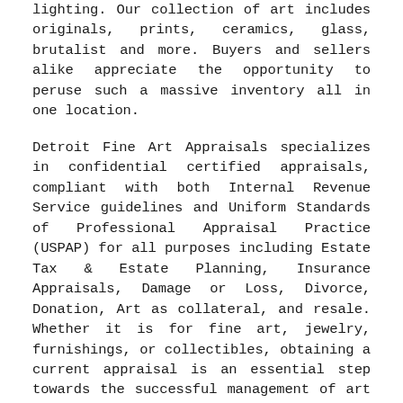lighting. Our collection of art includes originals, prints, ceramics, glass, brutalist and more. Buyers and sellers alike appreciate the opportunity to peruse such a massive inventory all in one location.
Detroit Fine Art Appraisals specializes in confidential certified appraisals, compliant with both Internal Revenue Service guidelines and Uniform Standards of Professional Appraisal Practice (USPAP) for all purposes including Estate Tax & Estate Planning, Insurance Appraisals, Damage or Loss, Divorce, Donation, Art as collateral, and resale. Whether it is for fine art, jewelry, furnishings, or collectibles, obtaining a current appraisal is an essential step towards the successful management of art as an asset.
Le Shoppe Auction House specializes in iconic 20th century furnishings and art, combining the convenience of 21st century online technology with the excitement of a